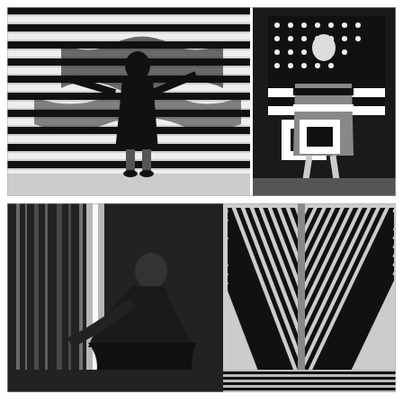[Figure (photo): Two black-and-white photographs arranged vertically. Top photo: On the left, a woman in a dark dress stands in front of a bold black-and-white Op Art geometric/wavy pattern background, arms outstretched. On the right, a woman in a black-and-white geometric patterned mini dress stands posed. Bottom photo: A woman in a dark outfit leans forward dynamically, with bold black-and-white diagonal stripe Op Art panels visible behind her.]